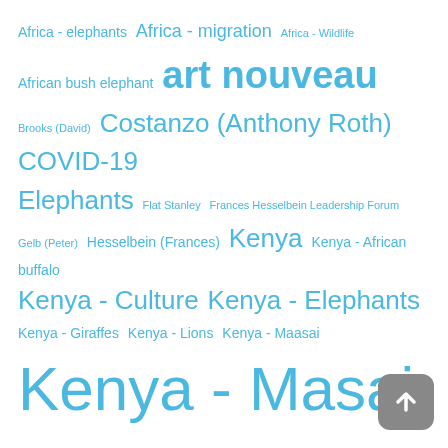[Figure (infographic): Tag cloud of subject headings and topics related to Kenya, Africa, and related subjects. Terms vary in font size indicating relative frequency or importance. All terms are in light blue color on white background. Includes a scroll-to-top button in the bottom right corner.]